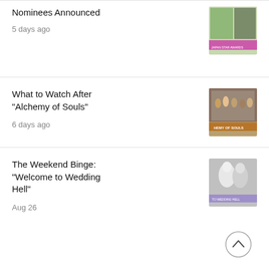Nominees Announced
5 days ago
[Figure (photo): Asian Star Awards thumbnail with group photo and purple banner]
What to Watch After "Alchemy of Souls"
6 days ago
[Figure (photo): Alchemy of Souls drama thumbnail with cast in traditional Korean clothing]
The Weekend Binge: "Welcome to Wedding Hell"
Aug 26
[Figure (photo): Welcome to Wedding Hell drama thumbnail with couple in black and white with purple banner]
[Figure (other): Back to top button, circular with upward chevron]